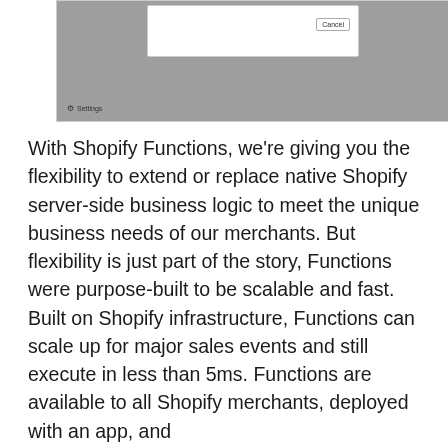[Figure (screenshot): A dialog box with a Cancel button shown over a grey background. A settings gear icon with 'Settings' label is visible at the bottom left.]
With Shopify Functions, we're giving you the flexibility to extend or replace native Shopify server-side business logic to meet the unique business needs of our merchants. But flexibility is just part of the story, Functions were purpose-built to be scalable and fast. Built on Shopify infrastructure, Functions can scale up for major sales events and still execute in less than 5ms. Functions are available to all Shopify merchants, deployed with an app, and